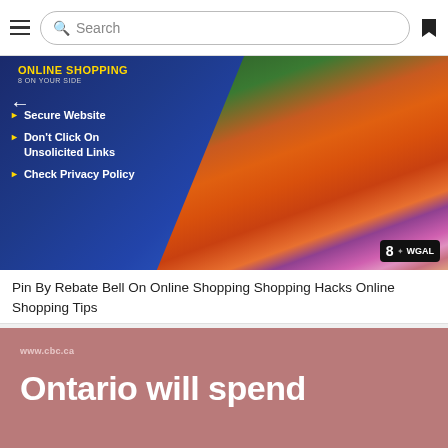Search
[Figure (screenshot): TV news graphic for WGAL 8 On Your Side showing Online Shopping tips: Secure Website, Don't Click On Unsolicited Links, Check Privacy Policy — with Christmas shopping bags and gifts photo on the right side]
Pin By Rebate Bell On Online Shopping Shopping Hacks Online Shopping Tips
[Figure (screenshot): CBC news card with pink/mauve background showing www.cbc.ca and headline 'Ontario will spend' (partial, cut off at bottom)]